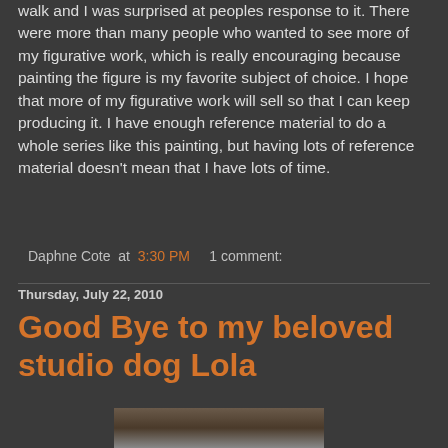walk and I was surprised at peoples response to it. There were more than many people who wanted to see more of my figurative work, which is really encouraging because painting the figure is my favorite subject of choice. I hope that more of my figurative work will sell so that I can keep producing it. I have enough reference material to do a whole series like this painting, but having lots of reference material doesn't mean that I have lots of time.
Daphne Cote at 3:30 PM   1 comment:
Thursday, July 22, 2010
Good Bye to my beloved studio dog Lola
[Figure (photo): Partial photo visible at bottom of page, showing a dog or studio scene]